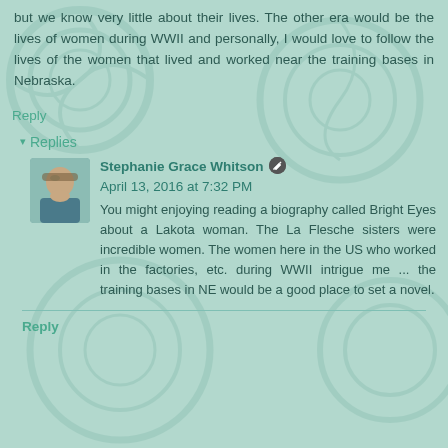but we know very little about their lives. The other era would be the lives of women during WWII and personally, I would love to follow the lives of the women that lived and worked near the training bases in Nebraska.
Reply
Replies
Stephanie Grace Whitson  April 13, 2016 at 7:32 PM
You might enjoying reading a biography called Bright Eyes about a Lakota woman. The La Flesche sisters were incredible women. The women here in the US who worked in the factories, etc. during WWII intrigue me ... the training bases in NE would be a good place to set a novel.
Reply